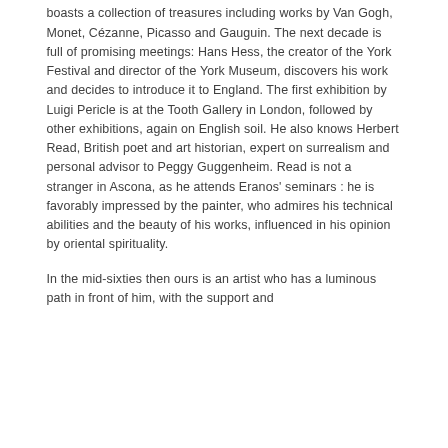boasts a collection of treasures including works by Van Gogh, Monet, Cézanne, Picasso and Gauguin. The next decade is full of promising meetings: Hans Hess, the creator of the York Festival and director of the York Museum, discovers his work and decides to introduce it to England. The first exhibition by Luigi Pericle is at the Tooth Gallery in London, followed by other exhibitions, again on English soil. He also knows Herbert Read, British poet and art historian, expert on surrealism and personal advisor to Peggy Guggenheim. Read is not a stranger in Ascona, as he attends Eranos' seminars : he is favorably impressed by the painter, who admires his technical abilities and the beauty of his works, influenced in his opinion by oriental spirituality.
In the mid-sixties then ours is an artist who has a luminous path in front of him, with the support and